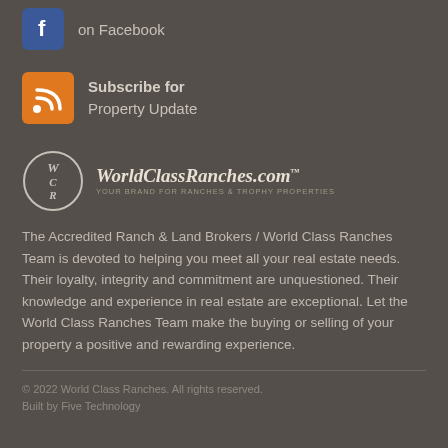[Figure (logo): Facebook icon button (blue square with white f)]
on Facebook
[Figure (logo): RSS/Subscribe icon (orange square with white RSS symbol)]
Subscribe for
Property Update
[Figure (logo): WorldClassRanches.com logo with circular WCR emblem and italic text: WorldClassRanches.com™ YOUR BRAND FOR RANCHES & TROPHY PROPERTIES]
The Accredited Ranch & Land Brokers / World Class Ranches Team is devoted to helping you meet all your real estate needs. Their loyalty, integrity and commitment are unquestioned. Their knowledge and experience in real estate are exceptional. Let the World Class Ranches Team make the buying or selling of your property a positive and rewarding experience.
© 2022 World Class Ranches. All rights reserved.
Built by Five Technology